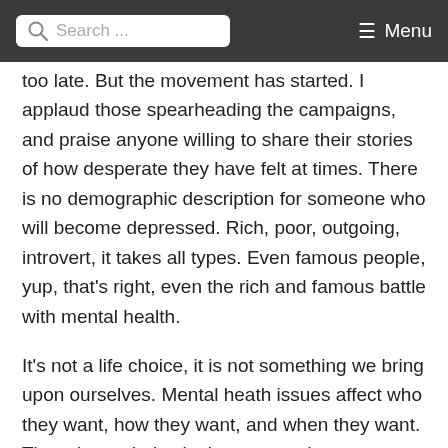Search ... Menu
too late. But the movement has started. I applaud those spearheading the campaigns, and praise anyone willing to share their stories of how desperate they have felt at times. There is no demographic description for someone who will become depressed. Rich, poor, outgoing, introvert, it takes all types. Even famous people, yup, that's right, even the rich and famous battle with mental health.
It's not a life choice, it is not something we bring upon ourselves. Mental heath issues affect who they want, how they want, and when they want. There is no choice in the matter whatsoever. The only choices we have are how we will cope with an issue if and when it strikes. Standing tall, not hiding, and